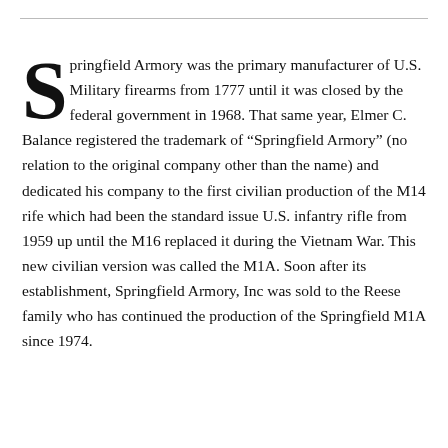Springfield Armory was the primary manufacturer of U.S. Military firearms from 1777 until it was closed by the federal government in 1968. That same year, Elmer C. Balance registered the trademark of “Springfield Armory” (no relation to the original company other than the name) and dedicated his company to the first civilian production of the M14 rife which had been the standard issue U.S. infantry rifle from 1959 up until the M16 replaced it during the Vietnam War. This new civilian version was called the M1A. Soon after its establishment, Springfield Armory, Inc was sold to the Reese family who has continued the production of the Springfield M1A since 1974.